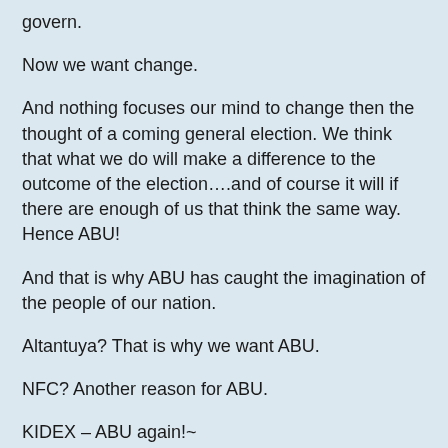govern.
Now we want change.
And nothing focuses our mind to change then the thought of a coming general election. We think that what we do will make a difference to the outcome of the election….and of course it will if there are enough of us that think the same way. Hence ABU!
And that is why ABU has caught the imagination of the people of our nation.
Altantuya? That is why we want ABU.
NFC? Another reason for ABU.
KIDEX – ABU again!~
Every ill within our country that can be traced back to